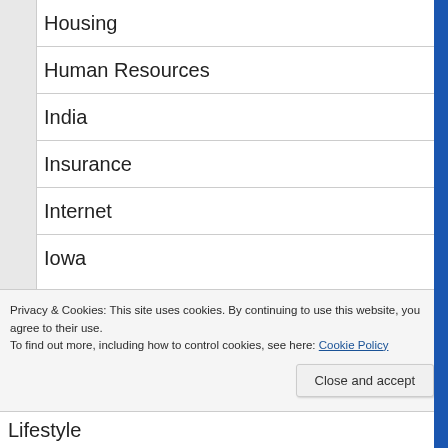Housing
Human Resources
India
Insurance
Internet
Iowa
Privacy & Cookies: This site uses cookies. By continuing to use this website, you agree to their use.
To find out more, including how to control cookies, see here: Cookie Policy
Lifestyle